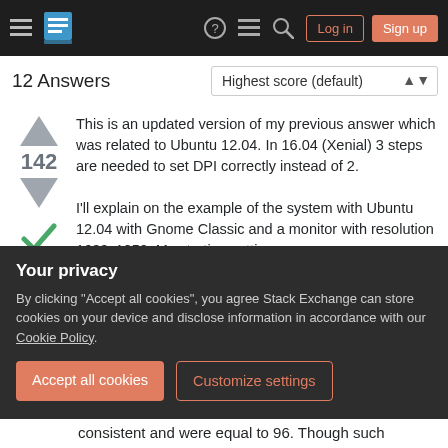Stack Exchange navigation bar with Log in and Sign up buttons
12 Answers
Highest score (default)
This is an updated version of my previous answer which was related to Ubuntu 12.04. In 16.04 (Xenial) 3 steps are needed to set DPI correctly instead of 2.
I'll explain on the example of the system with Ubuntu 12.04 with Gnome Classic and a monitor with resolution 1680x1050. My starting settings:
xdpyinfo | grep dots  reported  96x96  dots
Your privacy
By clicking "Accept all cookies", you agree Stack Exchange can store cookies on your device and disclose information in accordance with our Cookie Policy.
Accept all cookies
Customize settings
consistent and were equal to 96. Though such